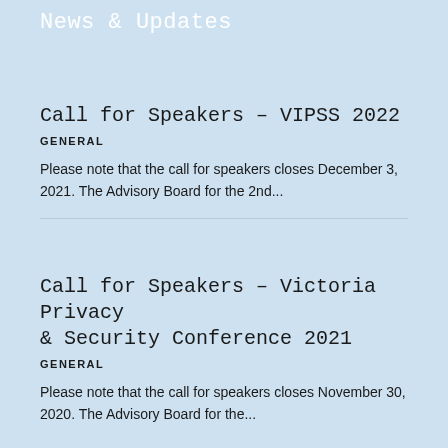News & Updates
Call for Speakers – VIPSS 2022
GENERAL
Please note that the call for speakers closes December 3, 2021. The Advisory Board for the 2nd...
Call for Speakers – Victoria Privacy & Security Conference 2021
GENERAL
Please note that the call for speakers closes November 30, 2020. The Advisory Board for the...